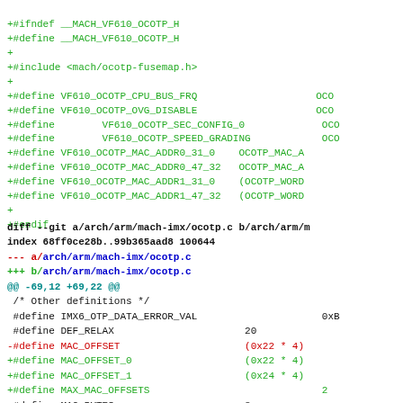+#ifndef __MACH_VF610_OCOTP_H
+#define __MACH_VF610_OCOTP_H
+
+#include <mach/ocotp-fusemap.h>
+
+#define VF610_OCOTP_CPU_BUS_FRQ                    OCO
+#define VF610_OCOTP_OVG_DISABLE                    OCO
+#define        VF610_OCOTP_SEC_CONFIG_0             OCO
+#define        VF610_OCOTP_SPEED_GRADING            OCO
+#define VF610_OCOTP_MAC_ADDR0_31_0    OCOTP_MAC_A
+#define VF610_OCOTP_MAC_ADDR0_47_32   OCOTP_MAC_A
+#define VF610_OCOTP_MAC_ADDR1_31_0    (OCOTP_WORD
+#define VF610_OCOTP_MAC_ADDR1_47_32   (OCOTP_WORD
+
+#endif
diff --git a/arch/arm/mach-imx/ocotp.c b/arch/arm/m
index 68ff0ce28b..99b365aad8 100644
--- a/arch/arm/mach-imx/ocotp.c
+++ b/arch/arm/mach-imx/ocotp.c
@@ -69,12 +69,22 @@
 /* Other definitions */
 #define IMX6_OTP_DATA_ERROR_VAL                     0xB
 #define DEF_RELAX                      20
-#define MAC_OFFSET                     (0x22 * 4)
+#define MAC_OFFSET_0                   (0x22 * 4)
+#define MAC_OFFSET_1                   (0x24 * 4)
+#define MAX_MAC_OFFSETS                             2
 #define MAC_BYTES                      8